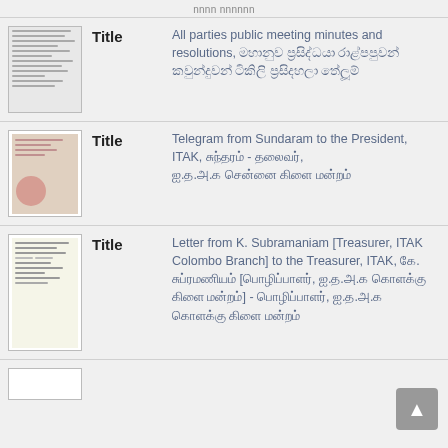nnnn nnnnnn
Title: All parties public meeting minutes and resolutions, [Tamil text]
Title: Telegram from Sundaram to the President, ITAK, [Tamil text] - [Tamil text], [Tamil text]
Title: Letter from K. Subramaniam [Treasurer, ITAK Colombo Branch] to the Treasurer, ITAK, [Tamil text]. [Tamil text] [[Tamil text], [Tamil text] [Tamil text] [Tamil text]] - [Tamil text], [Tamil text] [Tamil text] [Tamil text]